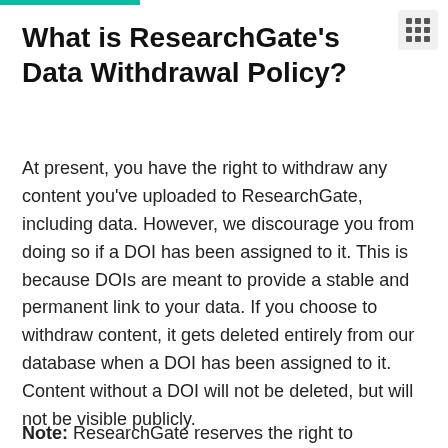What is ResearchGate's Data Withdrawal Policy?
At present, you have the right to withdraw any content you've uploaded to ResearchGate, including data. However, we discourage you from doing so if a DOI has been assigned to it. This is because DOIs are meant to provide a stable and permanent link to your data. If you choose to withdraw content, it gets deleted entirely from our database when a DOI has been assigned to it. Content without a DOI will not be deleted, but will not be visible publicly.
Note: ResearchGate reserves the right to